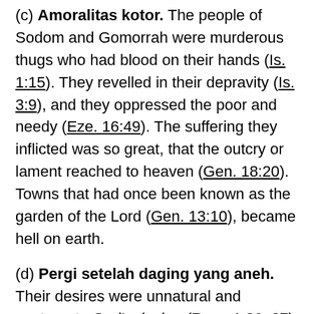(c) Amoralitas kotor. The people of Sodom and Gomorrah were murderous thugs who had blood on their hands (Is. 1:15). They revelled in their depravity (Is. 3:9), and they oppressed the poor and needy (Eze. 16:49). The suffering they inflicted was so great, that the outcry or lament reached to heaven (Gen. 18:20). Towns that had once been known as the garden of the Lord (Gen. 13:10), became hell on earth.
(d) Pergi setelah daging yang aneh. Their desires were unnatural and contrary to God's design (Rom. 1:26–27).